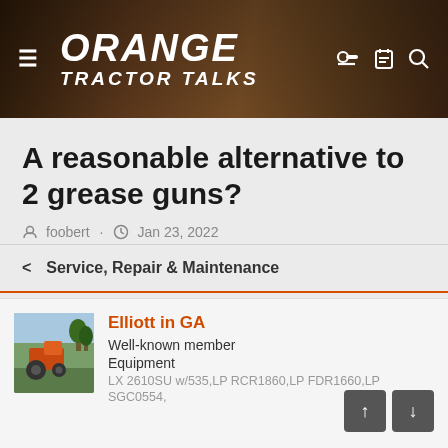ORANGE TRACTOR TALKS
A reasonable alternative to 2 grease guns?
foobert · Jan 23, 2022
< Service, Repair & Maintenance
Elliott in GA
Well-known member
Equipment
LX 2610SU w/535,LP RCR1860,LP FDR1660,LP SGC0554,